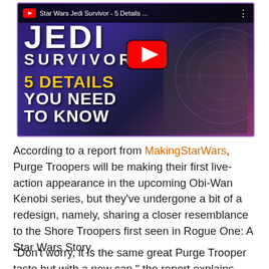[Figure (screenshot): YouTube video thumbnail for 'Star Wars Jedi Survivor - 5 Details...' showing the game title 'JEDI SURVIVOR', text '5 DETAILS YOU NEED TO KNOW' in yellow and white, a YouTube play button, and a character in armor on the right side against a dark blue/purple background.]
According to a report from MakingStarWars, Purge Troopers will be making their first live-action appearance in the upcoming Obi-Wan Kenobi series, but they've undergone a bit of a redesign, namely, sharing a closer resemblance to the Shore Troopers first seen in Rogue One: A Star Wars Story.
“Don’t worry, it is the same great Purge Trooper taste but with a new can,” the report explains. “The helmet